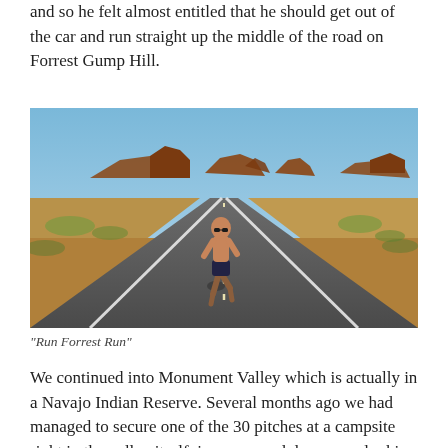and so he felt almost entitled that he should get out of the car and run straight up the middle of the road on Forrest Gump Hill.
[Figure (photo): A shirtless bald man running down the middle of a long straight desert highway toward the camera. Red rock mesas and buttes of Monument Valley visible in the background under a blue sky. Flat desert scrubland on both sides of the road.]
“Run Forrest Run”
We continued into Monument Valley which is actually in a Navajo Indian Reserve. Several months ago we had managed to secure one of the 30 pitches at a campsite right in the valley itself, in some sand dunes overlooking